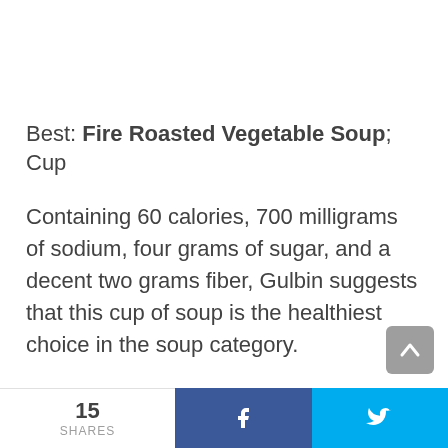Best: Fire Roasted Vegetable Soup; Cup
Containing 60 calories, 700 milligrams of sodium, four grams of sugar, and a decent two grams fiber, Gulbin suggests that this cup of soup is the healthiest choice in the soup category.
Consequently, What fast food is healthiest?
15 SHARES  f  (Twitter bird icon)